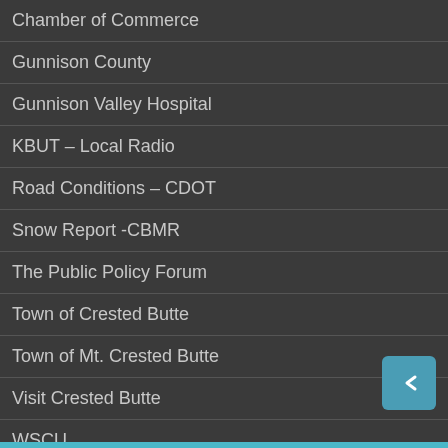Chamber of Commerce
Gunnison County
Gunnison Valley Hospital
KBUT – Local Radio
Road Conditions – CDOT
Snow Report -CBMR
The Public Policy Forum
Town of Crested Butte
Town of Mt. Crested Butte
Visit Crested Butte
WSCU
LOCAL ORGANIZATIONS
Artists of Crested Butte
CB Avalanche Center